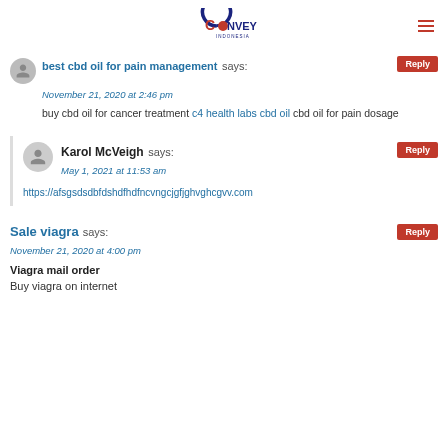Convey Indonesia logo and navigation
best cbd oil for pain management says: November 21, 2020 at 2:46 pm
buy cbd oil for cancer treatment c4 health labs cbd oil cbd oil for pain dosage
Karol McVeigh says: May 1, 2021 at 11:53 am
https://afsgsdsdbfdshdfhdfncvngcjgfjghvghcgvv.com
Sale viagra says: November 21, 2020 at 4:00 pm
Viagra mail order
Buy viagra on internet